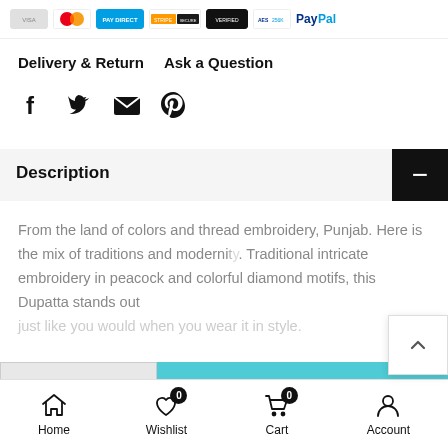[Figure (other): Payment method icons strip: Visa, Mastercard, and other payment logos including PayPal]
Delivery & Return    Ask a Question
[Figure (other): Social share icons: Facebook, Twitter, Email, Pinterest]
Description
From the land of colors and thread embroidery, Punjab. Here is the mix of traditions and modernity. Traditional intricate embroidery in peacock and colorful diamond motifs, this Dupatta stands out just like you would when you wear it in style.
Home   Wishlist   Cart   Account